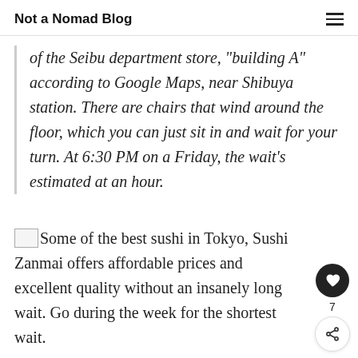Not a Nomad Blog
of the Seibu department store, "building A" according to Google Maps, near Shibuya station. There are chairs that wind around the floor, which you can just sit in and wait for your turn. At 6:30 PM on a Friday, the wait's estimated at an hour.
Some of the best sushi in Tokyo, Sushi Zanmai offers affordable prices and excellent quality without an insanely long wait. Go during the week for the shortest wait.